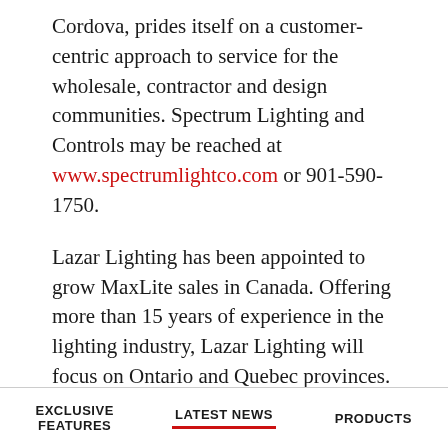Cordova, prides itself on a customer-centric approach to service for the wholesale, contractor and design communities. Spectrum Lighting and Controls may be reached at www.spectrumlightco.com or 901-590-1750.
Lazar Lighting has been appointed to grow MaxLite sales in Canada. Offering more than 15 years of experience in the lighting industry, Lazar Lighting will focus on Ontario and Quebec provinces. Located in Woodstock, Ontario, Lazar Lighting may be contacted at www.lazarlighting.com or 519-290-2200.
EXCLUSIVE FEATURES   LATEST NEWS   PRODUCTS